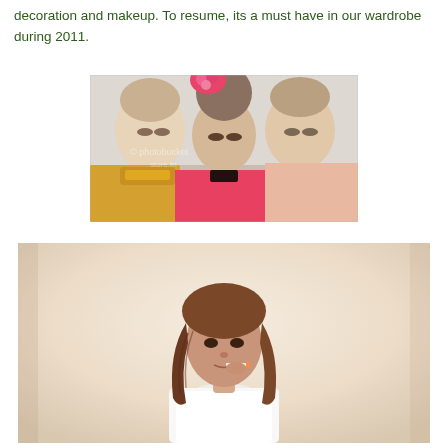decoration and makeup. To resume, its a must have in our wardrobe during 2011.
[Figure (photo): Three fashion models with elaborate hairstyles and bold makeup, one wearing a bright pink floral headpiece and pink outfit, another with a large bouffant updo and gold necklace, third with smooth updo. Stock photo with watermark.]
[Figure (photo): Young woman with long wavy brown hair wearing a white t-shirt, posed against a light background. Fashion editorial style photo.]